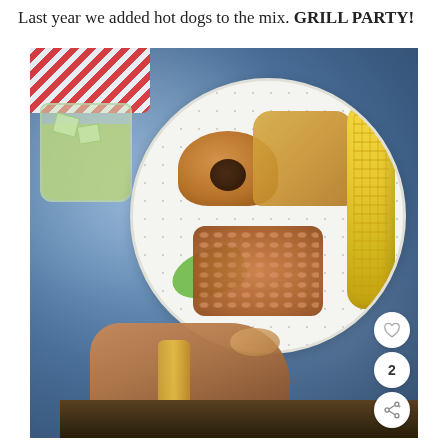Last year we added hot dogs to the mix. GRILL PARTY!
[Figure (photo): Overhead shot of a paper plate with a veggie burger, hot dog, baked beans, and corn on the cob on a blue marbled surface, with a glass of green drink, red-and-white striped cloth, and a hand holding the plate. Heart and share icons visible in bottom-right corner. Bottom edge shows a wooden surface.]